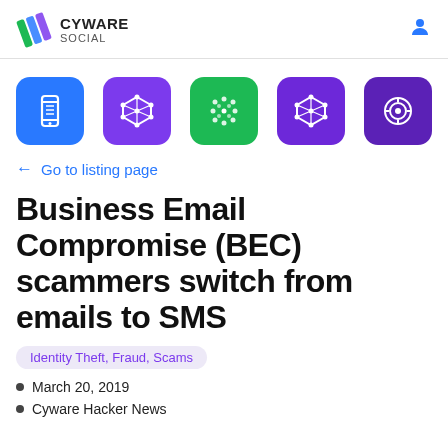CYWARE SOCIAL
[Figure (other): Five colored icon boxes showing app/category icons: blue mobile icon, purple network/cube icon, green dots/network icon, violet network icon, dark purple target/gear icon]
← Go to listing page
Business Email Compromise (BEC) scammers switch from emails to SMS
Identity Theft, Fraud, Scams
March 20, 2019
Cyware Hacker News